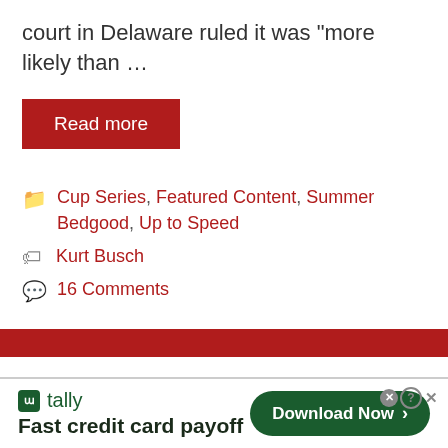court in Delaware ruled it was “more likely than …
Read more
Cup Series, Featured Content, Summer Bedgood, Up to Speed
Kurt Busch
16 Comments
[Figure (screenshot): Advertisement banner for Tally app with tagline 'Fast credit card payoff' and a green 'Download Now' button]